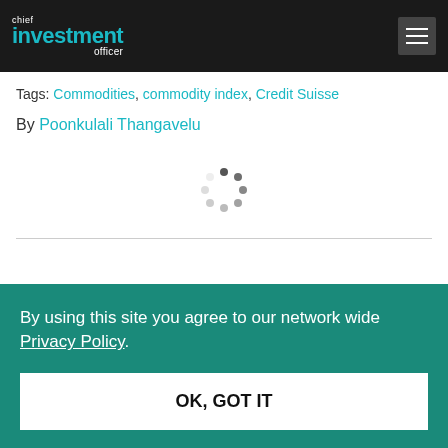chief investment officer
Tags: Commodities, commodity index, Credit Suisse
By Poonkulali Thangavelu
[Figure (other): Loading spinner animation dots arranged in a circle]
By using this site you agree to our network wide Privacy Policy.
OK, GOT IT